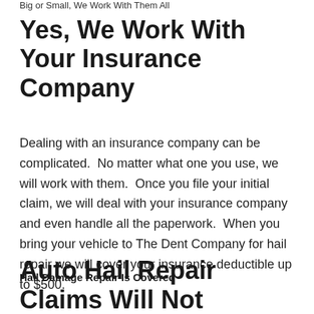Big or Small, We Work With Them All
Yes, We Work With Your Insurance Company
Dealing with an insurance company can be complicated.  No matter what one you use, we will work with them.  Once you file your initial claim, we will deal with your insurance company and even handle all the paperwork.  When you bring your vehicle to The Dent Company for hail repair we will cover your insurance deductible up to $500.
Hail Damage Repair Is Covered
Auto Hail Repair Claims Will Not